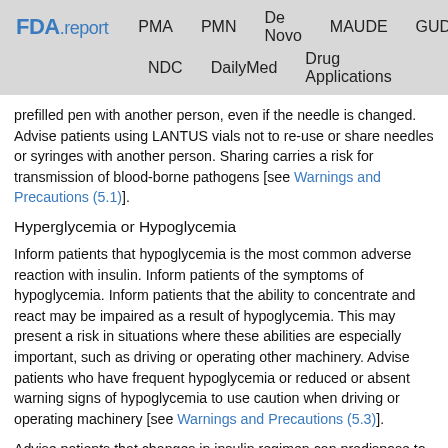FDA.report  PMA  PMN  De Novo  MAUDE  GUDID  NDC  DailyMed  Drug Applications
prefilled pen with another person, even if the needle is changed. Advise patients using LANTUS vials not to re-use or share needles or syringes with another person. Sharing carries a risk for transmission of blood-borne pathogens [see Warnings and Precautions (5.1)].
Hyperglycemia or Hypoglycemia
Inform patients that hypoglycemia is the most common adverse reaction with insulin. Inform patients of the symptoms of hypoglycemia. Inform patients that the ability to concentrate and react may be impaired as a result of hypoglycemia. This may present a risk in situations where these abilities are especially important, such as driving or operating other machinery. Advise patients who have frequent hypoglycemia or reduced or absent warning signs of hypoglycemia to use caution when driving or operating machinery [see Warnings and Precautions (5.3)].
Advise patients that changes in insulin regimen can predispose to hyperglycemia or hypoglycemia and that changes in insulin regimen should be made only under medical supervision [see...